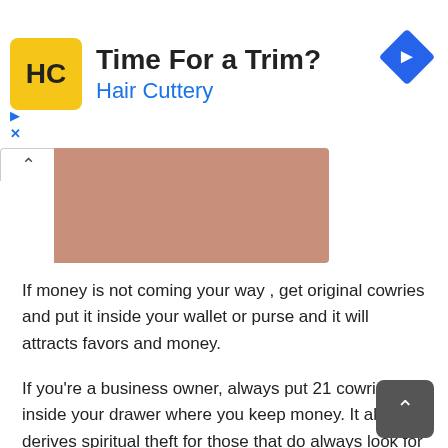[Figure (infographic): Hair Cuttery advertisement banner with yellow logo showing HC letters, heading 'Time For a Trim?', subtitle 'Hair Cuttery' in blue, and blue diamond-shaped arrow icon on the right. Skip ad controls (triangle and X) on the left.]
[Figure (photo): Partial image of a hand or skin-colored surface, partially visible behind a tab/button interface element showing an up-arrow.]
If money is not coming your way , get original cowries and put it inside your wallet or purse and it will attracts favors and money.
If you're a business owner, always put 21 cowries inside your drawer where you keep money. It also derives spiritual theft for those that do always look for missing money
Sea cowrie shell is a precious gift anyone can gift to another. There are so many powerful prayers you can do with it.
Keep it under your pillow if you usually have nightmares.